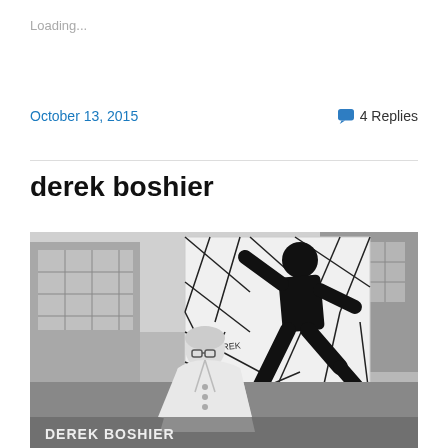Loading...
October 13, 2015
4 Replies
derek boshier
[Figure (photo): Black and white photograph of Derek Boshier standing in front of an artwork showing a black silhouette of a dancing figure on a geometric patterned canvas. Text on the artwork reads 'DAVID'. Text on the bottom of the image reads 'DEREK BOSHIER'.]